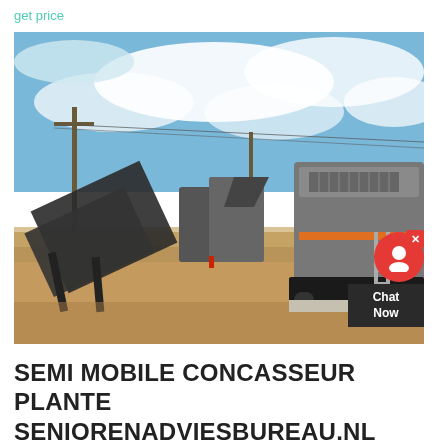get price
[Figure (photo): Outdoor industrial site showing a semi-mobile crushing and screening plant setup. Large gray mobile crusher unit on the right, with conveyors and screening equipment to the left, under a partly cloudy blue sky. Sandy ground surrounds the equipment.]
SEMI MOBILE CONCASSEUR PLANTE SENIORENADVIESBUREAU.NL